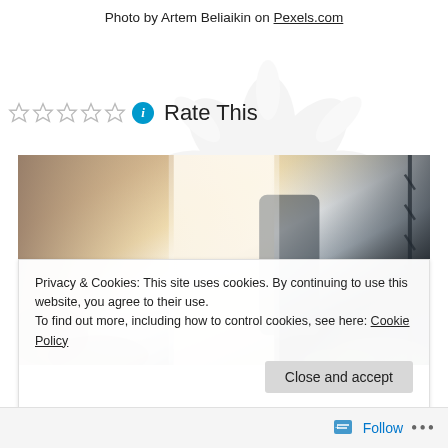Photo by Artem Beliaikin on Pexels.com
Rate This
[Figure (photo): Outdoor nature/waterfall scene with bright light and foliage, partially obscured by cookie consent banner]
Privacy & Cookies: This site uses cookies. By continuing to use this website, you agree to their use.
To find out more, including how to control cookies, see here: Cookie Policy
Follow ...